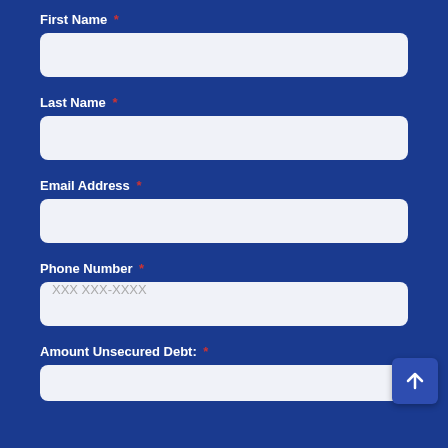First Name *
Last Name *
Email Address *
Phone Number *
Amount Unsecured Debt: *